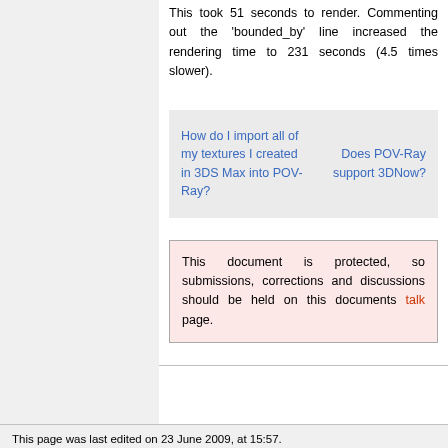This took 51 seconds to render. Commenting out the 'bounded_by' line increased the rendering time to 231 seconds (4.5 times slower).
How do I import all of my textures I created in 3DS Max into POV-Ray?  |  Does POV-Ray support 3DNow?
This document is protected, so submissions, corrections and discussions should be held on this documents talk page.
This page was last edited on 23 June 2009, at 15:57.